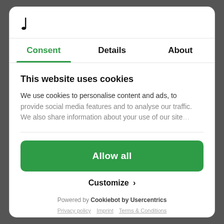[Figure (logo): Stylized logo symbol resembling a musical note or hook shape]
Consent | Details | About
This website uses cookies
We use cookies to personalise content and ads, to provide social media features and to analyse our traffic. We also share information about your use of our site...
Allow all
Customize >
Powered by Cookiebot by Usercentrics
Privacy policy | Imprint | Terms & Conditions